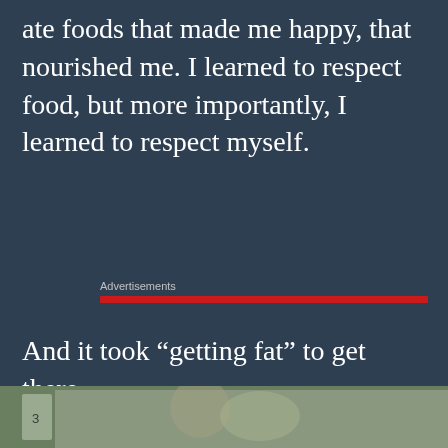ate foods that made me happy, that nourished me. I learned to respect food, but more importantly, I learned to respect myself.
Advertisements
And it took “getting fat” to get there.
Privacy & Cookies: This site uses cookies. By continuing to use this website, you agree to their use.
To find out more, including how to control cookies, see here: Cookie Policy
Close and accept
[Figure (photo): Partial photo strip at bottom of page showing a person outdoors]